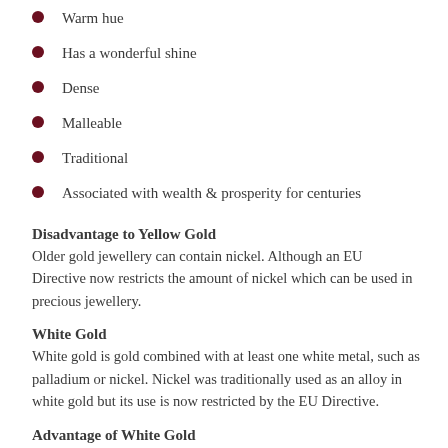Warm hue
Has a wonderful shine
Dense
Malleable
Traditional
Associated with wealth & prosperity for centuries
Disadvantage to Yellow Gold
Older gold jewellery can contain nickel. Although an EU Directive now restricts the amount of nickel which can be used in precious jewellery.
White Gold
White gold is gold combined with at least one white metal, such as palladium or nickel. Nickel was traditionally used as an alloy in white gold but its use is now restricted by the EU Directive.
Advantage of White Gold